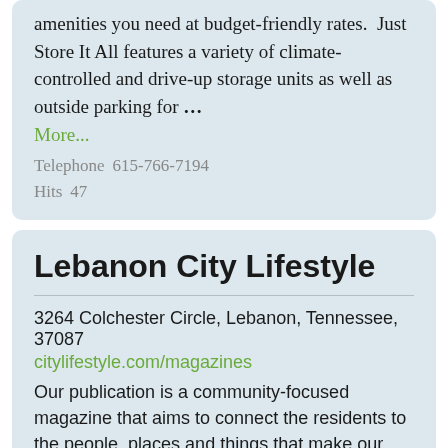amenities you need at budget-friendly rates.  Just Store It All features a variety of climate-controlled and drive-up storage units as well as outside parking for ...
More...
Telephone  615-766-7194
Hits  47
Lebanon City Lifestyle
3264 Colchester Circle, Lebanon, Tennessee, 37087
citylifestyle.com/magazines
Our publication is a community-focused magazine that aims to connect the residents to the people, places and things that make our city special. We are inspired by the unique atmosphere our city has, and